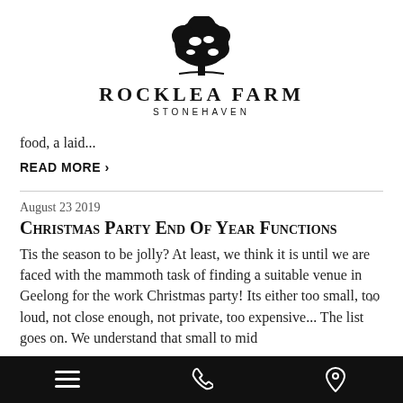[Figure (logo): Rocklea Farm Stonehaven logo with tree silhouette above text]
food, a laid...
READ MORE ›
August 23 2019
Christmas Party End Of Year Functions
Tis the season to be jolly? At least, we think it is until we are faced with the mammoth task of finding a suitable venue in Geelong for the work Christmas party! Its either too small, too loud, not close enough, not private, too expensive... The list goes on. We understand that small to mid
Navigation bar with menu, phone, and location icons